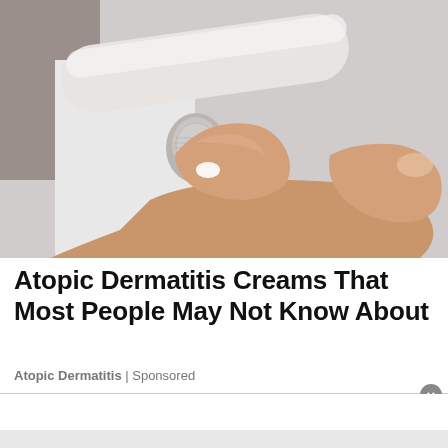[Figure (photo): Close-up photo of a hand squeezing cream from a white tube onto a fingertip, light gray/white background]
Atopic Dermatitis Creams That Most People May Not Know About
Atopic Dermatitis | Sponsored